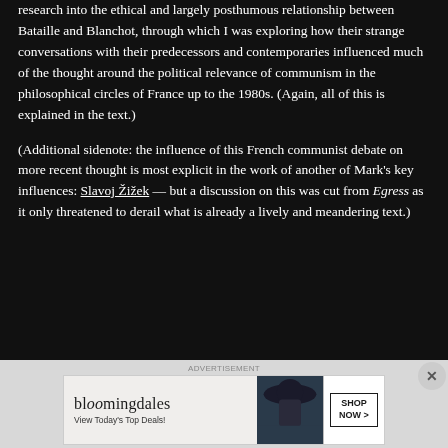research into the ethical and largely posthumous relationship between Bataille and Blanchot, through which I was exploring how their strange conversations with their predecessors and contemporaries influenced much of the thought around the political relevance of communism in the philosophical circles of France up to the 1980s. (Again, all of this is explained in the text.)
(Additional sidenote: the influence of this French communist debate on more recent thought is most explicit in the work of another of Mark's key influences: Slavoj Žižek — but a discussion on this was cut from Egress as it only threatened to derail what is already a lively and meandering text.)
[Figure (other): Bloomingdale's advertisement banner. Shows the Bloomingdale's logo with tagline 'View Today's Top Deals!', a figure wearing a large dark hat, and a 'SHOP NOW >' button.]